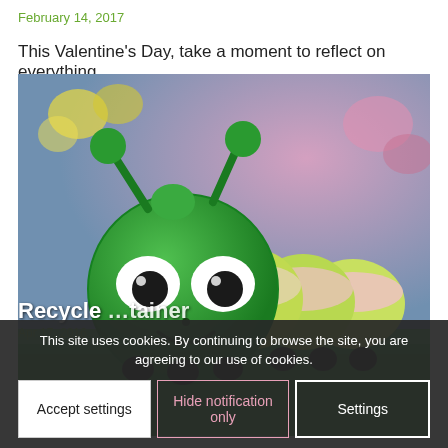February 14, 2017
This Valentine's Day, take a moment to reflect on everything…
[Figure (photo): A green caterpillar toy with large black-and-white eyes, a smiley face, antennae, and a striped yellow-green and pink segmented body, photographed on a green surface with a blurred colorful background.]
This site uses cookies. By continuing to browse the site, you are agreeing to our use of cookies.
Recycle … tainer
Apr 17, 2016